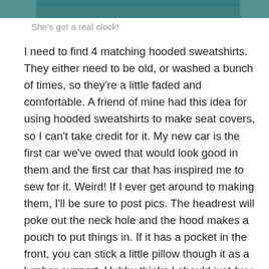[Figure (photo): Partial photo at top of page, cropped, showing an indistinct scene with teal/blue tones]
She's got a real clock!
I need to find 4 matching hooded sweatshirts.  They either need to be old, or washed a bunch of times, so they're a little faded and comfortable.  A friend of mine had this idea for using hooded sweatshirts to make seat covers, so I can't take credit for it.  My new car is the first car we've owed that would look good in them and the first car that has inspired me to sew for it.  Weird!  If I ever get around to making them, I'll be sure to post pics.  The headrest will poke out the neck hole and the hood makes a pouch to put things in.  If it has a pocket in the front, you can stick a little pillow though it as a lumbar support.  Hubby thinks I should just buy already made seat covers, but where's the fun in that?  I'd rather go without for awhile.  OK…so I'm stubborn, too!!!  LOL